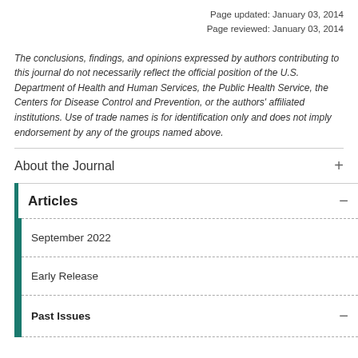Page updated: January 03, 2014
Page reviewed: January 03, 2014
The conclusions, findings, and opinions expressed by authors contributing to this journal do not necessarily reflect the official position of the U.S. Department of Health and Human Services, the Public Health Service, the Centers for Disease Control and Prevention, or the authors' affiliated institutions. Use of trade names is for identification only and does not imply endorsement by any of the groups named above.
About the Journal
Articles
September 2022
Early Release
Past Issues